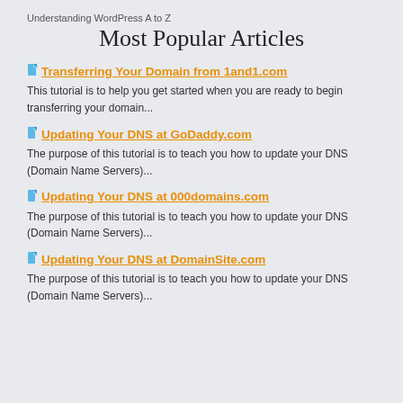Understanding WordPress A to Z
Most Popular Articles
📄 Transferring Your Domain from 1and1.com
This tutorial is to help you get started when you are ready to begin transferring your domain...
📄 Updating Your DNS at GoDaddy.com
The purpose of this tutorial is to teach you how to update your DNS (Domain Name Servers)...
📄 Updating Your DNS at 000domains.com
The purpose of this tutorial is to teach you how to update your DNS (Domain Name Servers)...
📄 Updating Your DNS at DomainSite.com
The purpose of this tutorial is to teach you how to update your DNS (Domain Name Servers)...